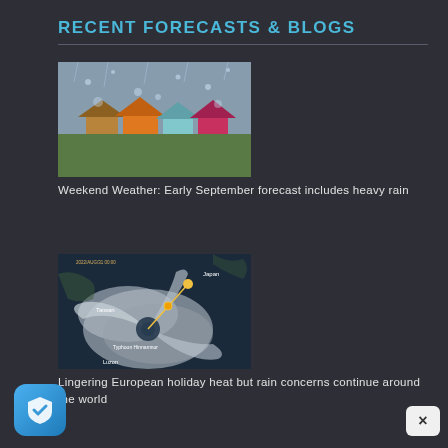RECENT FORECASTS & BLOGS
[Figure (photo): Rain on a window pane with colorful houses in the background on a rainy day]
Weekend Weather: Early September forecast includes heavy rain
[Figure (photo): Satellite imagery showing a typhoon system labeled Typhoon Hinnamnor approaching Taiwan region]
Lingering European holiday heat but rain concerns continue around the world